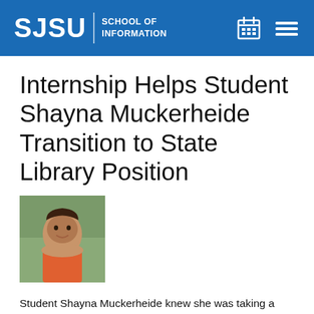SJSU | SCHOOL OF INFORMATION
Internship Helps Student Shayna Muckerheide Transition to State Library Position
[Figure (photo): Headshot photo of Shayna Muckerheide, a young woman smiling, wearing an orange top, with green foliage in the background.]
Student Shayna Muckerheide knew she was taking a financial risk last summer when she decided to scale back her journalism job to part-time so she could work as an unpaid intern to gain library experience. But the gamble quickly paid off. Muckerheide's internship at